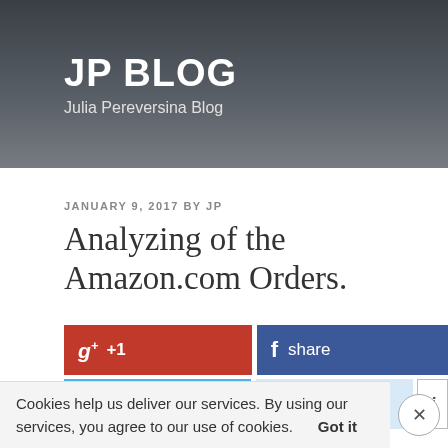JP BLOG
Julia Pereversina Blog
JANUARY 9, 2017 BY JP
Analyzing of the Amazon.com Orders.
[Figure (infographic): Social share buttons: Google+1, Facebook share, Twitter tweet, Reddit share, info button]
Analyzing of the Amazon.com Orders.
Happy owners of the Amazon.com account and the PowerBI Desktop Application can enjoy of first days of
Cookies help us deliver our services. By using our services, you agree to our use of cookies.    Got it